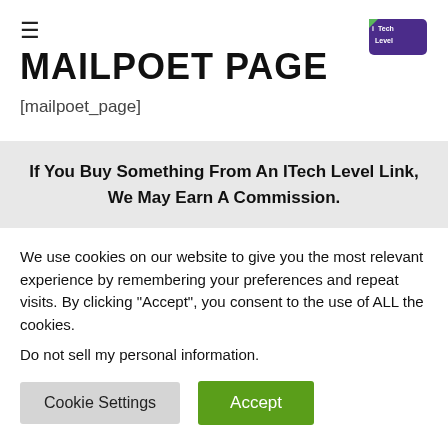MAILPOET PAGE
[mailpoet_page]
If You Buy Something From An ITech Level Link, We May Earn A Commission.
We use cookies on our website to give you the most relevant experience by remembering your preferences and repeat visits. By clicking “Accept”, you consent to the use of ALL the cookies.
Do not sell my personal information.
Cookie Settings | Accept